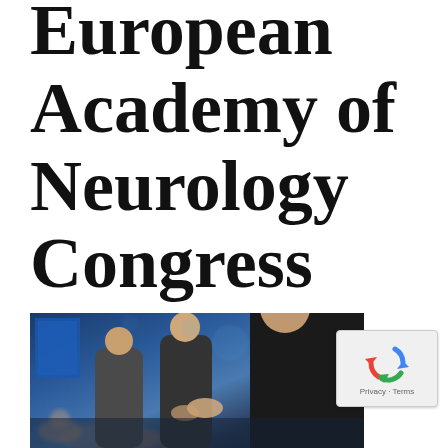European Academy of Neurology Congress 2016
[Figure (photo): Conference networking scene showing people in professional attire at what appears to be a congress or conference venue, slightly blurred/bokeh background with blue lighting]
[Figure (other): reCAPTCHA widget showing the recycling-arrow logo with 'Privacy · Terms' text below]